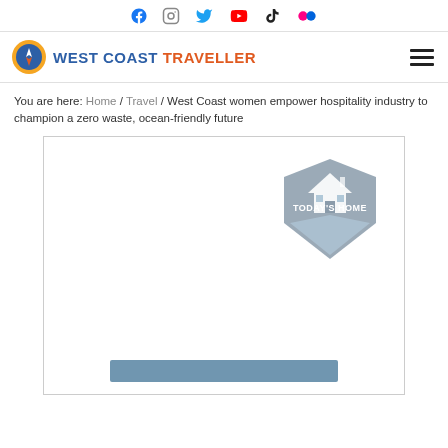Social media icons: Facebook, Instagram, Twitter, YouTube, TikTok, Flickr
[Figure (logo): West Coast Traveller logo with compass icon and text 'WEST COAST TRAVELLER']
You are here: Home / Travel / West Coast women empower hospitality industry to champion a zero waste, ocean-friendly future
[Figure (illustration): Advertisement placeholder box with 'Today's Home' badge logo in the upper right and a blue bar at the bottom]